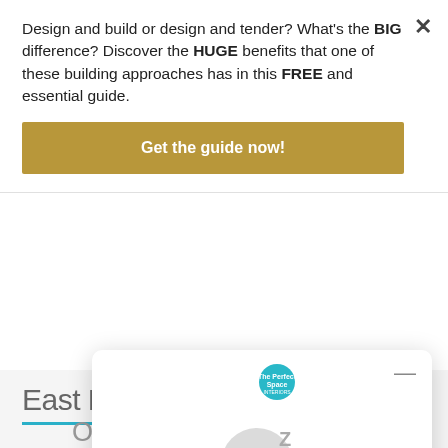Design and build or design and tender? What's the BIG difference? Discover the HUGE benefits that one of these building approaches has in this FREE and essential guide.
Get the guide now!
East Esplanac...
Search
Our Gallery
[Figure (screenshot): Chat widget popup showing The Perfect Space logo, a sleeping face emoji with Z letters, 'We're offline' heading, and 'Leave a message' link]
We're offline
Leave a message